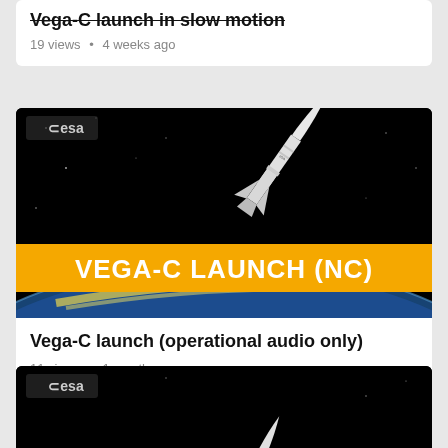Vega-C launch in slow motion
19 views • 4 weeks ago
[Figure (screenshot): ESA video thumbnail for Vega-C launch (NC) showing a rocket ascending over Earth with an orange banner reading VEGA-C LAUNCH (NC)]
Vega-C launch (operational audio only)
11 views • 1 month ago
[Figure (screenshot): ESA video thumbnail showing a Vega-C rocket on black background, partially visible at bottom of page]